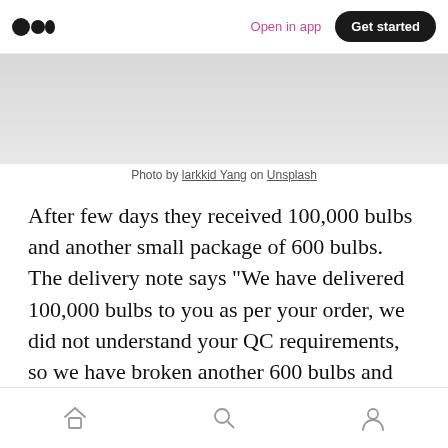Open in app  Get started
[Figure (photo): Light gray photo/image area at top of article]
Photo by larkkid Yang on Unsplash
After few days they received 100,000 bulbs and another small package of 600 bulbs. The delivery note says “We have delivered 100,000 bulbs to you as per your order, we did not understand your QC requirements, so we have broken another 600 bulbs and attached with the delivery so that you are not disappointed”.
Home | Search | Profile